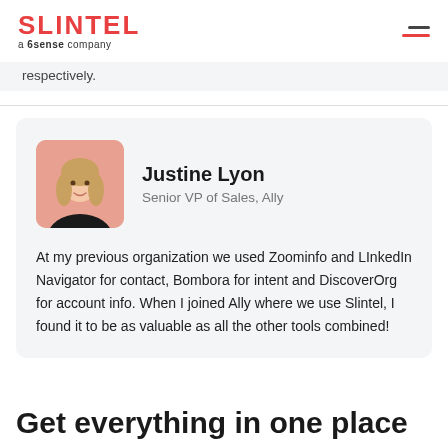SLINTEL a 6sense company
respectively.
[Figure (photo): Profile photo of Justine Lyon, a woman with blonde hair, against a pink/salmon background.]
Justine Lyon
Senior VP of Sales, Ally
At my previous organization we used Zoominfo and LInkedIn Navigator for contact, Bombora for intent and DiscoverOrg for account info. When I joined Ally where we use Slintel, I found it to be as valuable as all the other tools combined!
Get everything in one place